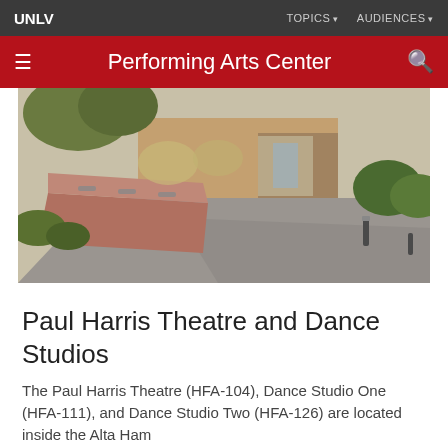UNLV | TOPICS ▾  AUDIENCES ▾
Performing Arts Center
[Figure (photo): Outdoor walkway at UNLV with a large reddish-brown stone bench/planter along a paved path, flanked by desert landscaping and shrubs, with a building entrance visible in the background.]
Paul Harris Theatre and Dance Studios
The Paul Harris Theatre (HFA-104), Dance Studio One (HFA-111), and Dance Studio Two (HFA-126) are located inside the Alta Ham